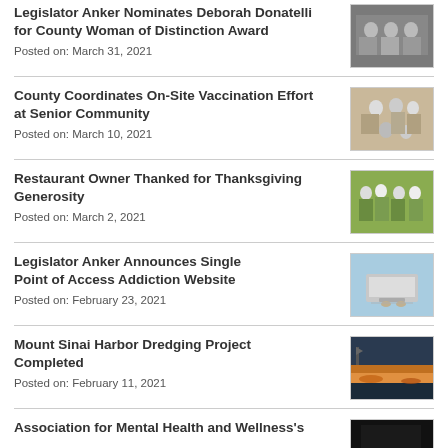Legislator Anker Nominates Deborah Donatelli for County Woman of Distinction Award
Posted on: March 31, 2021
[Figure (photo): Group photo of people indoors]
County Coordinates On-Site Vaccination Effort at Senior Community
Posted on: March 10, 2021
[Figure (photo): Group photo at vaccination site]
Restaurant Owner Thanked for Thanksgiving Generosity
Posted on: March 2, 2021
[Figure (photo): Group photo with green background]
Legislator Anker Announces Single Point of Access Addiction Website
Posted on: February 23, 2021
[Figure (photo): Hands typing on laptop with blue background]
Mount Sinai Harbor Dredging Project Completed
Posted on: February 11, 2021
[Figure (photo): Sunset harbor scene with dramatic clouds]
Association for Mental Health and Wellness's
[Figure (photo): Dark photo, partially visible]